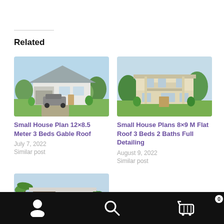Related
[Figure (photo): Rendered image of a small single-story white house with gable roof and a car in the driveway, surrounded by green trees]
Small House Plan 12×8.5 Meter 3 Beds Gable Roof
July 7, 2022
Similar post
[Figure (photo): Rendered image of a two-story beige house with flat roof elements and balcony, surrounded by palm trees]
Small House Plans 8×9 M Flat Roof 3 Beds 2 Baths Full Detailing
August 9, 2022
Similar post
[Figure (photo): Rendered image of a modern single-story house with flat roof and large windows, surrounded by tropical plants]
User account | Search | Cart (0)